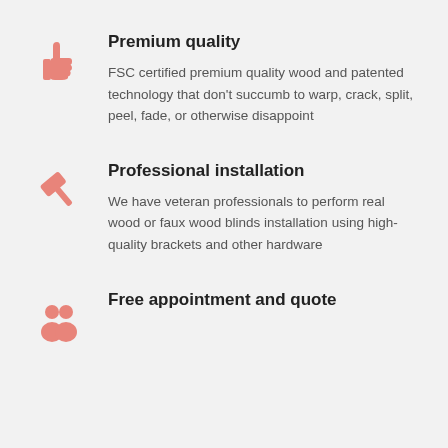[Figure (illustration): Salmon/pink thumbs-up icon]
Premium quality
FSC certified premium quality wood and patented technology that don’t succumb to warp, crack, split, peel, fade, or otherwise disappoint
[Figure (illustration): Salmon/pink hammer icon]
Professional installation
We have veteran professionals to perform real wood or faux wood blinds installation using high-quality brackets and other hardware
[Figure (illustration): Salmon/pink people/group icon]
Free appointment and quote